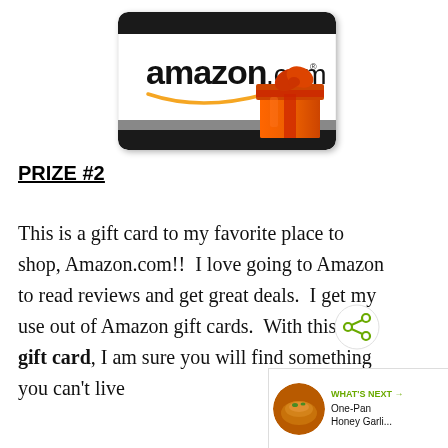[Figure (illustration): Amazon.com gift card image showing the amazon.com logo and an orange gift box with ribbon on a white card with black top and bottom bars]
PRIZE #2
This is a gift card to my favorite place to shop, Amazon.com!!  I love going to Amazon to read reviews and get great deals.  I get my use out of Amazon gift cards.  With this $25 gift card, I am sure you will find something you can't live